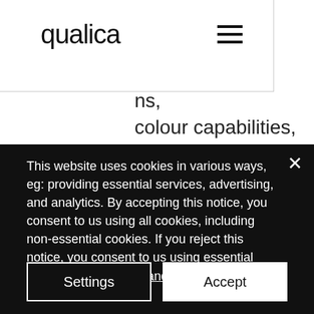qualica
ns, colour capabilities, plug-ins, language settings, cookie preferences, search engine keywords, JavaScript enablement, the content and pages that you access on the website, and the dates and times that you visit the website, paths taken, and time spent on sites and pages within the website (usage information)
This website uses cookies in various ways, eg: providing essential services, advertising, and analytics. By accepting this notice, you consent to us using all cookies, including non-essential cookies. If you reject this notice, you consent to us using essential cookies only. Privacy and Cookies Policy
Settings
Accept